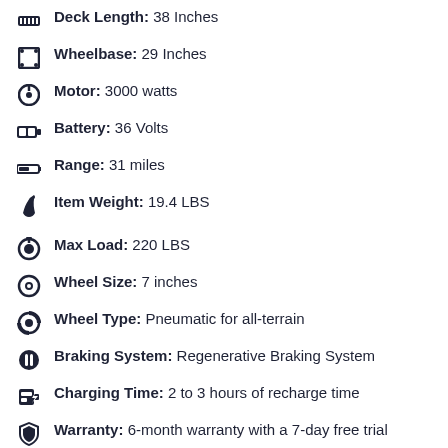Deck Length: 38 Inches
Wheelbase: 29 Inches
Motor: 3000 watts
Battery: 36 Volts
Range: 31 miles
Item Weight: 19.4 LBS
Max Load: 220 LBS
Wheel Size: 7 inches
Wheel Type: Pneumatic for all-terrain
Braking System: Regenerative Braking System
Charging Time: 2 to 3 hours of recharge time
Warranty: 6-month warranty with a 7-day free trial